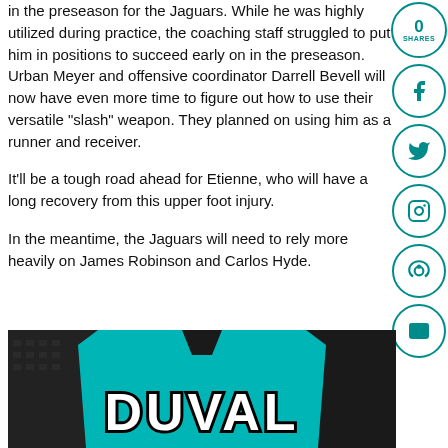in the preseason for the Jaguars. While he was highly utilized during practice, the coaching staff struggled to put him in positions to succeed early on in the preseason. Urban Meyer and offensive coordinator Darrell Bevell will now have even more time to figure out how to use their versatile "slash" weapon. They planned on using him as a runner and receiver.
It'll be a tough road ahead for Etienne, who will have a long recovery from this upper foot injury.
In the meantime, the Jaguars will need to rely more heavily on James Robinson and Carlos Hyde.
[Figure (photo): A teal Jacksonville Jaguars jersey showing the word DUVAL on the back, photographed against a dark building background.]